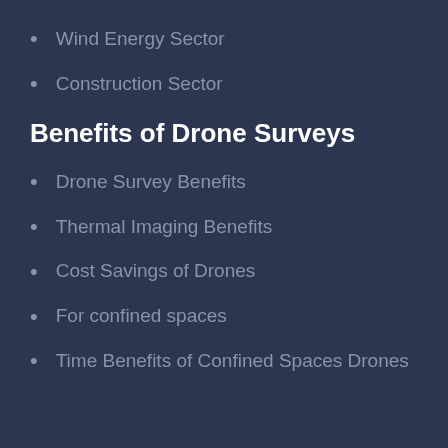Wind Energy Sector
Construction Sector
Benefits of Drone Surveys
Drone Survey Benefits
Thermal Imaging Benefits
Cost Savings of Drones
For confined spaces
Time Benefits of Confined Spaces Drones